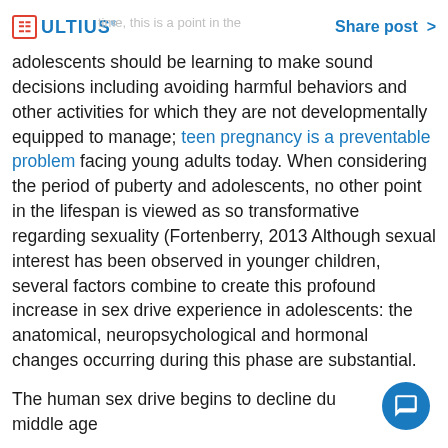Ultius  time, this is a point in the  Share post >
adolescents should be learning to make sound decisions including avoiding harmful behaviors and other activities for which they are not developmentally equipped to manage; teen pregnancy is a preventable problem facing young adults today. When considering the period of puberty and adolescents, no other point in the lifespan is viewed as so transformative regarding sexuality (Fortenberry, 2013 Although sexual interest has been observed in younger children, several factors combine to create this profound increase in sex drive experience in adolescents: the anatomical, neuropsychological and hormonal changes occurring during this phase are substantial.
The human sex drive begins to decline during middle age